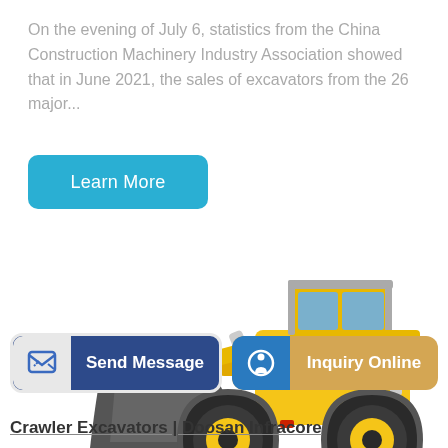On the evening of July 6, statistics from the China Construction Machinery Industry Association showed that in June 2021, the sales of excavators from the 26 major...
Learn More
[Figure (photo): Yellow MONARCH wheel loader / front-end loader with large black bucket and large rubber tires on white background]
Send Message
Inquiry Online
Crawler Excavators | Doosan Infracore